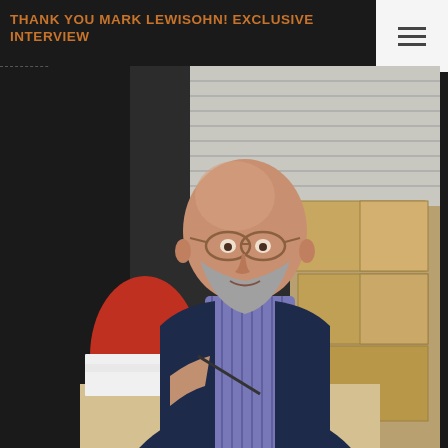THANK YOU MARK LEWISOHN! EXCLUSIVE INTERVIEW
[Figure (photo): A bald man with a grey beard and glasses, wearing a dark navy blazer over a purple striped shirt, sits at a table signing a book. The book cover shows the word 'TUNE' in large bold black letters on a white cover. Several stacked books are visible on the table. In the background are cardboard boxes and venetian blinds. A red garment is visible to his left.]